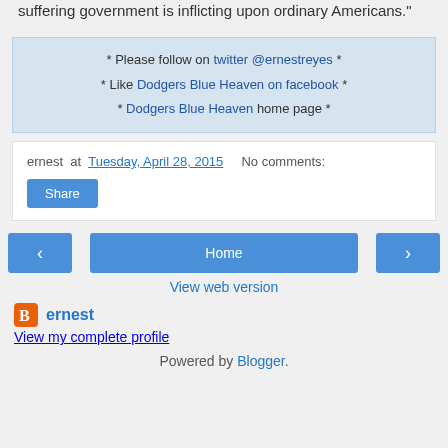suffering government is inflicting upon ordinary Americans."
* Please follow on twitter @ernestreyes * * Like Dodgers Blue Heaven on facebook * * Dodgers Blue Heaven home page *
ernest at Tuesday, April 28, 2015   No comments:
Share
< Home >
View web version
ernest
View my complete profile
Powered by Blogger.